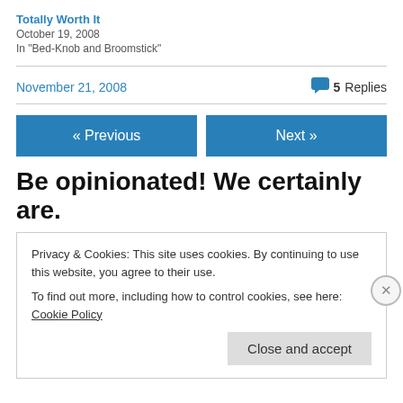Totally Worth It
October 19, 2008
In "Bed-Knob and Broomstick"
November 21, 2008  💬 5 Replies
« Previous
Next »
Be opinionated! We certainly are.
Privacy & Cookies: This site uses cookies. By continuing to use this website, you agree to their use.
To find out more, including how to control cookies, see here: Cookie Policy
Close and accept